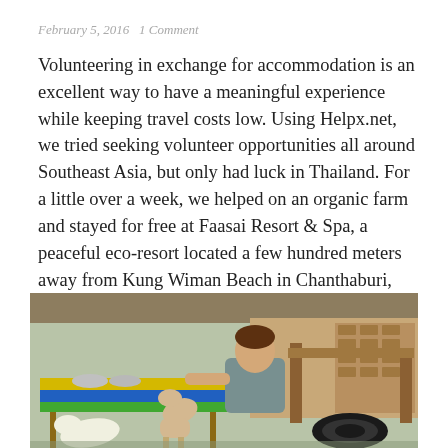February 5, 2016   1 Comment
Volunteering in exchange for accommodation is an excellent way to have a meaningful experience while keeping travel costs low. Using Helpx.net, we tried seeking volunteer opportunities all around Southeast Asia, but only had luck in Thailand. For a little over a week, we helped on an organic farm and stayed for free at Faasai Resort & Spa, a peaceful eco-resort located a few hundred meters away from Kung Wiman Beach in Chanthaburi, Thailand.
[Figure (photo): A person sitting outdoors at a colorful wooden table (painted yellow, blue, and green stripes) interacting with dogs. There is a tire visible on the right side and what appears to be a wooden shelter structure in the background.]